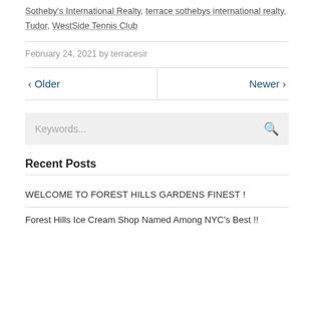Sotheby's International Realty, terrace sothebys international realty, Tudor, WestSide Tennis Club
February 24, 2021 by terracesir
‹ Older   Newer ›
Keywords...
Recent Posts
WELCOME TO FOREST HILLS GARDENS FINEST !
Forest Hills Ice Cream Shop Named Among NYC's Best !!